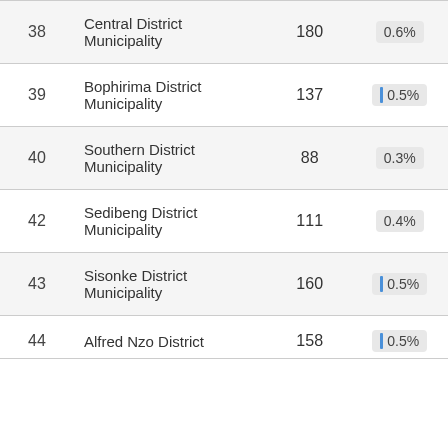| # | Municipality | Count | Percentage |
| --- | --- | --- | --- |
| 38 | Central District Municipality | 180 | 0.6% |
| 39 | Bophirima District Municipality | 137 | 0.5% |
| 40 | Southern District Municipality | 88 | 0.3% |
| 42 | Sedibeng District Municipality | 111 | 0.4% |
| 43 | Sisonke District Municipality | 160 | 0.5% |
| 44 | Alfred Nzo District | 158 | 0.5% |